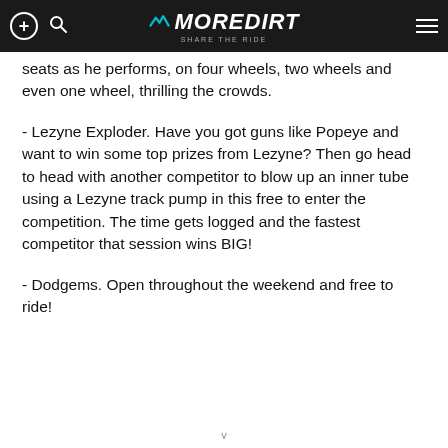MoreDirt – Share the Ride
seats as he performs, on four wheels, two wheels and even one wheel, thrilling the crowds.
- Lezyne Exploder. Have you got guns like Popeye and want to win some top prizes from Lezyne? Then go head to head with another competitor to blow up an inner tube using a Lezyne track pump in this free to enter the competition. The time gets logged and the fastest competitor that session wins BIG!
- Dodgems. Open throughout the weekend and free to ride!